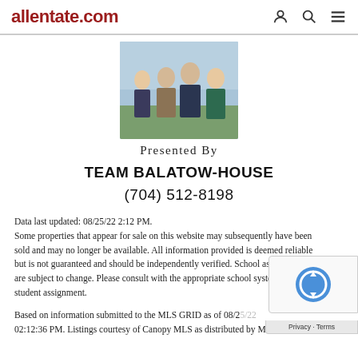allentate.com
[Figure (photo): Group photo of four real estate team members standing together outdoors]
Presented By
TEAM BALATOW-HOUSE
(704) 512-8198
Data last updated: 08/25/22 2:12 PM.
Some properties that appear for sale on this website may subsequently have been sold and may no longer be available. All information provided is deemed reliable but is not guaranteed and should be independently verified. School assignments are subject to change. Please consult with the appropriate school system for student assignment.
Based on information submitted to the MLS GRID as of 08/25/22 02:12:36 PM. Listings courtesy of Canopy MLS as distributed by MLS